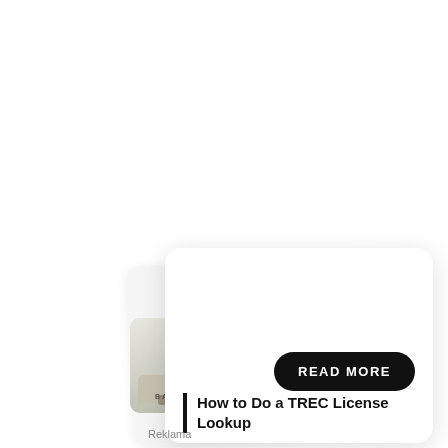[Figure (photo): Interior room photo thumbnail showing a sofa, coffee table, and plant; displayed as a small card with a Balhome logo beneath it]
[Figure (screenshot): White rounded card overlay with a black READ MORE pill button and an article title block with left vertical bar accent]
How to Do a TREC License Lookup
READ MORE
Reklama